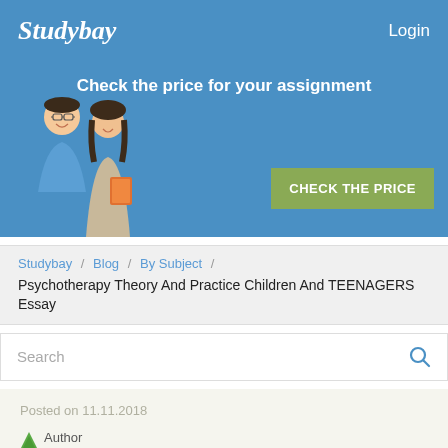Studybay   Login
[Figure (screenshot): Studybay banner with two people (male and female students) and a green 'CHECK THE PRICE' button on blue background]
Check the price for your assignment
CHECK THE PRICE
Studybay / Blog / By Subject / Psychotherapy Theory And Practice Children And TEENAGERS Essay
Search
Posted on 11.11.2018
Author
Jenson